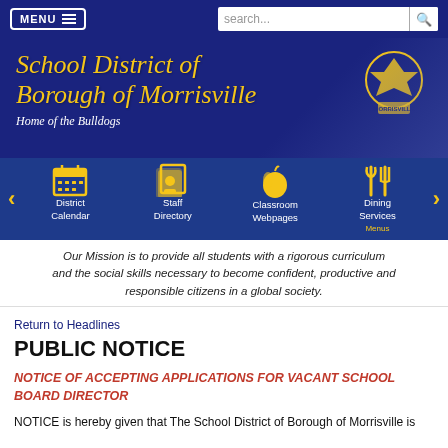MENU | search...
School District of Borough of Morrisville
Home of the Bulldogs
[Figure (screenshot): Navigation icon bar with District Calendar, Staff Directory, Classroom Webpages, Dining Services Menus icons in gold on dark blue background with left/right arrows]
Our Mission is to provide all students with a rigorous curriculum and the social skills necessary to become confident, productive and responsible citizens in a global society.
Return to Headlines
PUBLIC NOTICE
NOTICE OF ACCEPTING APPLICATIONS FOR VACANT SCHOOL BOARD DIRECTOR
NOTICE is hereby given that The School District of Borough of Morrisville is